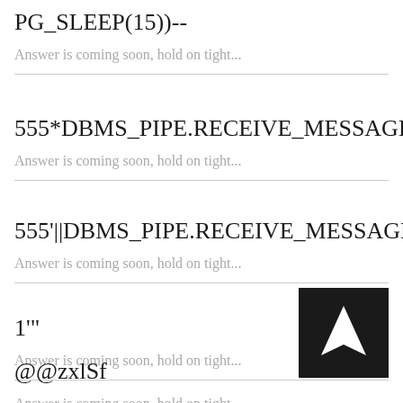PG_SLEEP(15))--
Answer is coming soon, hold on tight...
555*DBMS_PIPE.RECEIVE_MESSAGE(C
Answer is coming soon, hold on tight...
555'||DBMS_PIPE.RECEIVE_MESSAGE
Answer is coming soon, hold on tight...
1'"
Answer is coming soon, hold on tight...
@@zxlSf
Answer is coming soon, hold on tight...
[Figure (logo): Black square with white arrow/chevron logo]